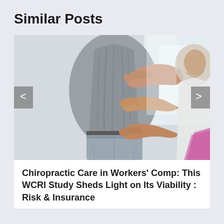Similar Posts
[Figure (photo): A chiropractor examining a patient's back — the patient stands in a grey t-shirt and jeans while the practitioner places both hands on the patient's lower and mid back. A blurry bright background with a purple/pink object is visible. Navigation arrows (< and >) appear on the left and right edges of the image.]
Chiropractic Care in Workers' Comp: This WCRI Study Sheds Light on Its Viability : Risk & Insurance